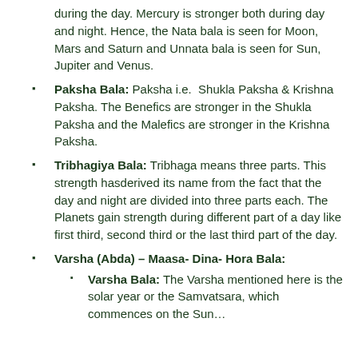during the day. Mercury is stronger both during day and night. Hence, the Nata bala is seen for Moon, Mars and Saturn and Unnata bala is seen for Sun, Jupiter and Venus.
Paksha Bala: Paksha i.e. Shukla Paksha & Krishna Paksha. The Benefics are stronger in the Shukla Paksha and the Malefics are stronger in the Krishna Paksha.
Tribhagiya Bala: Tribhaga means three parts. This strength hasderived its name from the fact that the day and night are divided into three parts each. The Planets gain strength during different part of a day like first third, second third or the last third part of the day.
Varsha (Abda) – Maasa- Dina- Hora Bala:
Varsha Bala: The Varsha mentioned here is the solar year or the Samvatsara, which commences on the Sun…